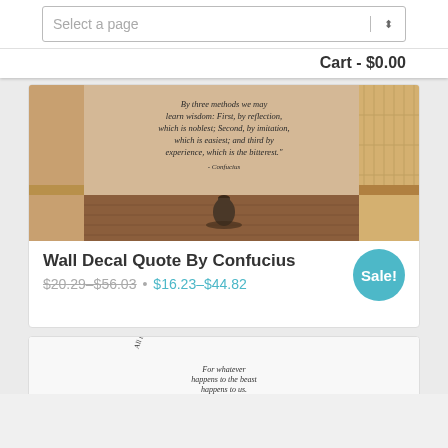Select a page
Cart - $0.00
[Figure (photo): Room interior with Confucius quote on wall: 'By three methods we may learn wisdom: First, by reflection, which is noblest; Second, by imitation, which is easiest; and third by experience, which is the bitterest.' – Confucius. A dark vase sits on the floor.]
Wall Decal Quote By Confucius
$20.29–$56.03 • $16.23–$44.82
Sale!
[Figure (photo): Circular wall decal with Chief Seattle quote about animals and connection, with elephant illustration, and a dark decorative vase below.]